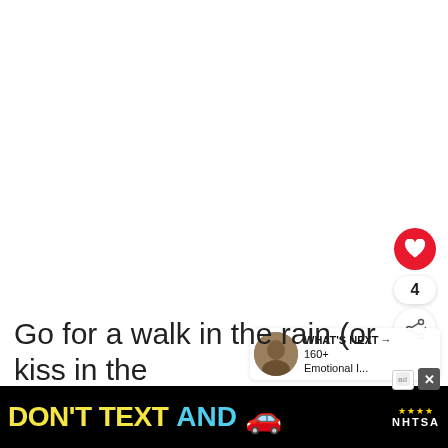[Figure (screenshot): Blank white content area (main image area, appears empty/white)]
4
WHAT'S NEXT → 160+ Emotional I...
Go for a walk in the rain (or kiss in the rain...you
[Figure (other): Advertisement banner: DON'T TEXT AND [car emoji] with NHTSA logo and close button]